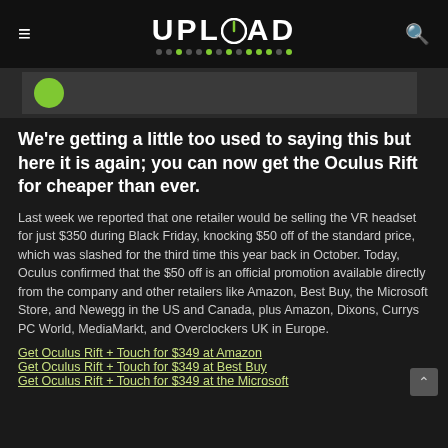UPLOAD
[Figure (screenshot): Partial image strip with dark background showing a green circle icon]
We're getting a little too used to saying this but here it is again; you can now get the Oculus Rift for cheaper than ever.
Last week we reported that one retailer would be selling the VR headset for just $350 during Black Friday, knocking $50 off of the standard price, which was slashed for the third time this year back in October. Today, Oculus confirmed that the $50 off is an official promotion available directly from the company and other retailers like Amazon, Best Buy, the Microsoft Store, and Newegg in the US and Canada, plus Amazon, Dixons, Currys PC World, MediaMarkt, and Overclockers UK in Europe.
Get Oculus Rift + Touch for $349 at Amazon
Get Oculus Rift + Touch for $349 at Best Buy
Get Oculus Rift + Touch for $349 at the Microsoft